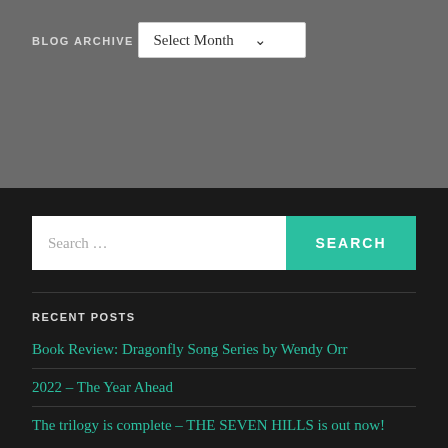BLOG ARCHIVE
Select Month
RECENT POSTS
Book Review: Dragonfly Song Series by Wendy Orr
2022 – The Year Ahead
The trilogy is complete – THE SEVEN HILLS is out now!